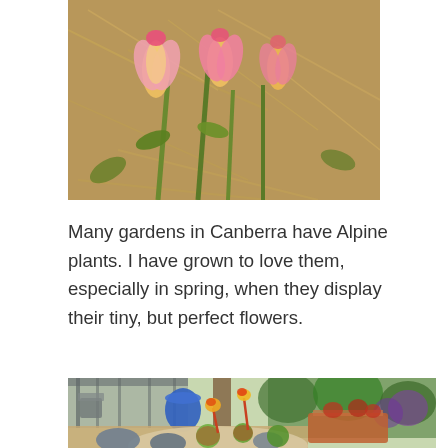[Figure (photo): Close-up photo of pink and yellow tulip flowers lying on dry straw/mulch ground]
Many gardens in Canberra have Alpine plants. I have grown to love them, especially in spring, when they display their tiny, but perfect flowers.
[Figure (photo): Garden photo showing a shallow bowl/tray with succulent alpine plants (sempervivum/hen-and-chicks) with red and yellow flowers, surrounded by rounded stones/pebbles. A pergola, outdoor furniture, and colorful garden beds visible in the background.]